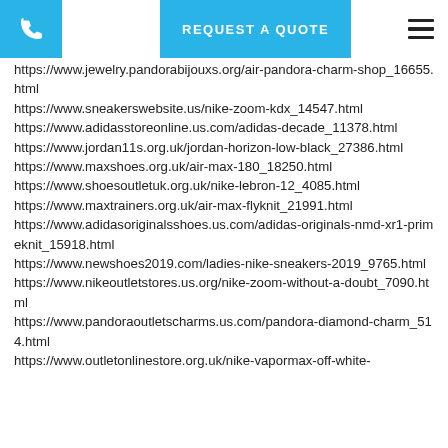REQUEST A QUOTE
https://www.jewelry.pandorabijouxs.org/air-pandora-charm-shop_16655.html
https://www.sneakerswebsite.us/nike-zoom-kdx_14547.html
https://www.adidasstoreonline.us.com/adidas-decade_11378.html
https://www.jordan11s.org.uk/jordan-horizon-low-black_27386.html
https://www.maxshoes.org.uk/air-max-180_18250.html
https://www.shoesoutletuk.org.uk/nike-lebron-12_4085.html
https://www.maxtrainers.org.uk/air-max-flyknit_21991.html
https://www.adidasoriginalsshoes.us.com/adidas-originals-nmd-xr1-primeknit_15918.html
https://www.newshoes2019.com/ladies-nike-sneakers-2019_9765.html
https://www.nikeoutletstores.us.org/nike-zoom-without-a-doubt_7090.html
https://www.pandoraoutletscharms.us.com/pandora-diamond-charm_514.html
https://www.outletonlinestore.org.uk/nike-vapormax-off-white-